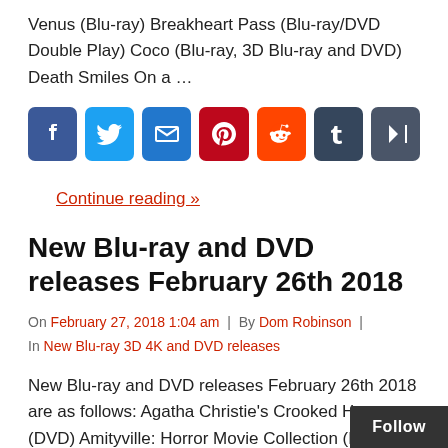Venus (Blu-ray) Breakheart Pass (Blu-ray/DVD Double Play) Coco (Blu-ray, 3D Blu-ray and DVD) Death Smiles On a …
[Figure (other): Row of social media share buttons: Facebook, Twitter, Email, Pinterest, Reddit, Tumblr, More]
Continue reading »
New Blu-ray and DVD releases February 26th 2018
On February 27, 2018 1:04 am | By Dom Robinson | In New Blu-ray 3D 4K and DVD releases
New Blu-ray and DVD releases February 26th 2018 are as follows: Agatha Christie's Crooked House (DVD) Amityville: Horror Movie Collection (DVD) Attac…